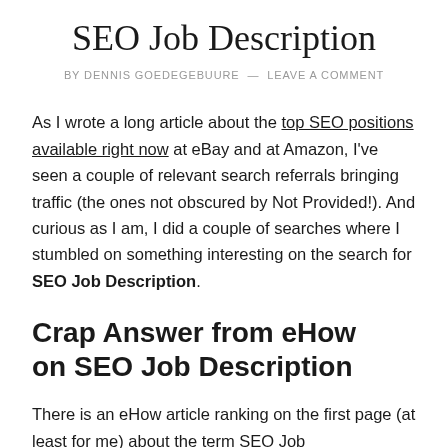SEO Job Description
BY DENNIS GOEDEGEBUURE — LEAVE A COMMENT
As I wrote a long article about the top SEO positions available right now at eBay and at Amazon, I've seen a couple of relevant search referrals bringing traffic (the ones not obscured by Not Provided!). And curious as I am, I did a couple of searches where I stumbled on something interesting on the search for SEO Job Description.
Crap Answer from eHow on SEO Job Description
There is an eHow article ranking on the first page (at least for me) about the term SEO Job